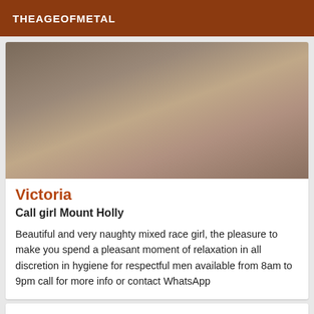THEAGEOFMETAL
[Figure (photo): Photo of a woman in black underwear in a bathroom setting]
Victoria
Call girl Mount Holly
Beautiful and very naughty mixed race girl, the pleasure to make you spend a pleasant moment of relaxation in all discretion in hygiene for respectful men available from 8am to 9pm call for more info or contact WhatsApp